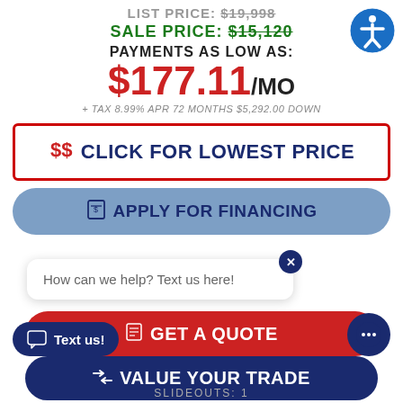LIST PRICE: $19,998
SALE PRICE: $15,120
PAYMENTS AS LOW AS:
$177.11/MO
+ TAX 8.99% APR 72 MONTHS $5,292.00 DOWN
$$ CLICK FOR LOWEST PRICE
APPLY FOR FINANCING
How can we help? Text us here!
GET A QUOTE
VALUE YOUR TRADE
Text us!
SLIDEOUTS: 1